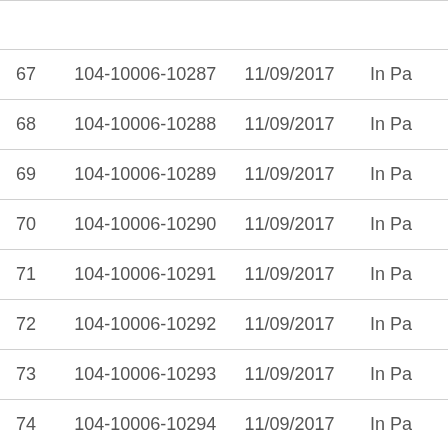| 67 | 104-10006-10287 | 11/09/2017 | In Pa |
| 68 | 104-10006-10288 | 11/09/2017 | In Pa |
| 69 | 104-10006-10289 | 11/09/2017 | In Pa |
| 70 | 104-10006-10290 | 11/09/2017 | In Pa |
| 71 | 104-10006-10291 | 11/09/2017 | In Pa |
| 72 | 104-10006-10292 | 11/09/2017 | In Pa |
| 73 | 104-10006-10293 | 11/09/2017 | In Pa |
| 74 | 104-10006-10294 | 11/09/2017 | In Pa |